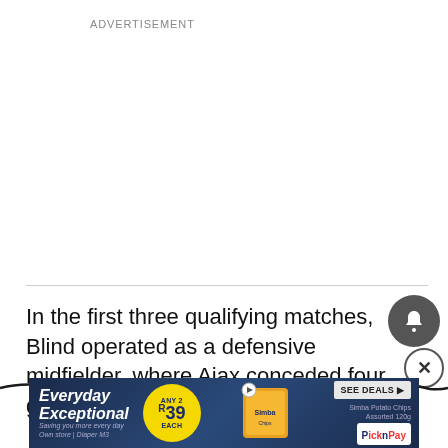ADVERTISEMENT
In the first three qualifying matches, Blind operated as a defensive midfielder, where Ajax conceded four goals, bu
[Figure (screenshot): Advertisement banner for Pick n Pay featuring 'Everyday Exceptional' text, a yellow circle with 'ANY 2 R39' offer, Simba Potato Chips image, and 'SEE DEALS' button]